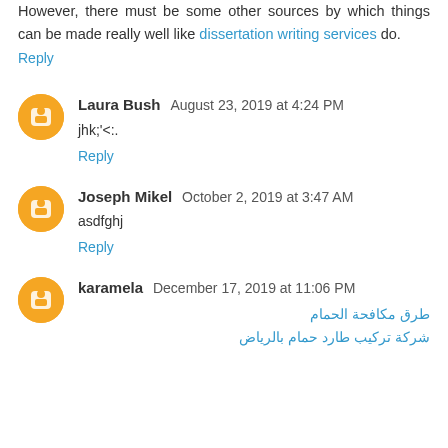However, there must be some other sources by which things can be made really well like dissertation writing services do.
Reply
Laura Bush  August 23, 2019 at 4:24 PM
jhk;'<:.
Reply
Joseph Mikel  October 2, 2019 at 3:47 AM
asdfghj
Reply
karamela  December 17, 2019 at 11:06 PM
طرق مكافحة الحمام
شركة تركيب طارد حمام بالرياض